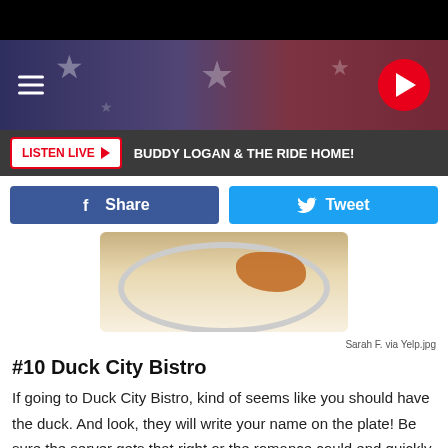[Figure (screenshot): US 104.9 radio station website header with hamburger menu, logo shield, and play button on American flag background]
[Figure (screenshot): Listen Live button bar with text: BUDDY LOGAN & THE RIDE HOME!]
[Figure (screenshot): Facebook Share and Twitter Tweet buttons]
[Figure (photo): Photo of a plate with sauce/food writing, partially cropped]
Sarah F. via Yelp.jpg
#10 Duck City Bistro
If going to Duck City Bistro, kind of seems like you should have the duck. And look, they will write your name on the plate! Be sure the server gets that right or the romance could end quickly.